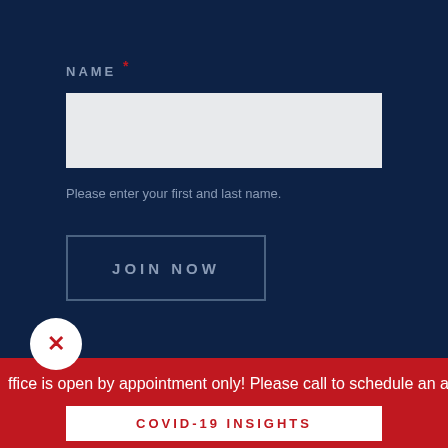NAME *
Please enter your first and last name.
JOIN NOW
ffice is open by appointment only! Please call to schedule an ap
COVID-19 INSIGHTS